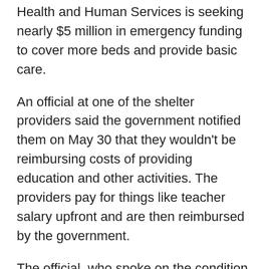Health and Human Services is seeking nearly $5 million in emergency funding to cover more beds and provide basic care.
An official at one of the shelter providers said the government notified them on May 30 that they wouldn't be reimbursing costs of providing education and other activities. The providers pay for things like teacher salary upfront and are then reimbursed by the government.
The official, who spoke on the condition of anonymity because he was not authorized to speak on the matter, said his employer was scrambling to figure out how it would cover the cost of teachers. The provider hasn't laid anyone off, but worries about children who desperately need to learn English and be intellectually stimulated.